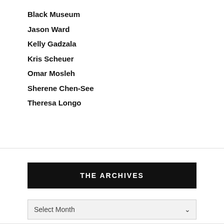Black Museum
Jason Ward
Kelly Gadzala
Kris Scheuer
Omar Mosleh
Sherene Chen-See
Theresa Longo
THE ARCHIVES
Select Month